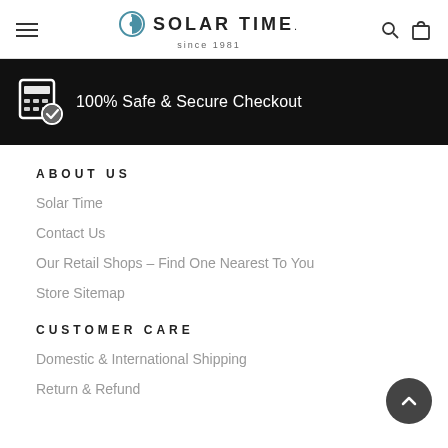Solar Time since 1981
[Figure (infographic): Black banner with checkout security icon and text: 100% Safe & Secure Checkout]
ABOUT US
Solar Time
Contact Us
Our Retail Shops – Find One Nearest To You
Store Sitemap
CUSTOMER CARE
Domestic & International Shipping
Return & Refund